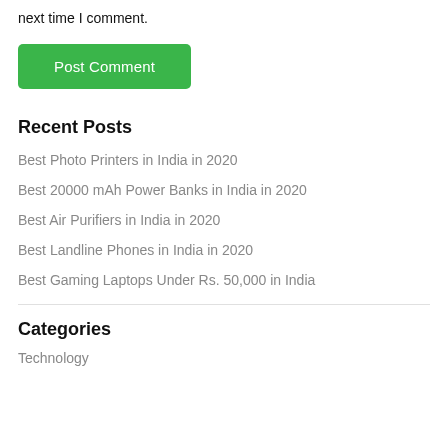next time I comment.
Post Comment
Recent Posts
Best Photo Printers in India in 2020
Best 20000 mAh Power Banks in India in 2020
Best Air Purifiers in India in 2020
Best Landline Phones in India in 2020
Best Gaming Laptops Under Rs. 50,000 in India
Categories
Technology